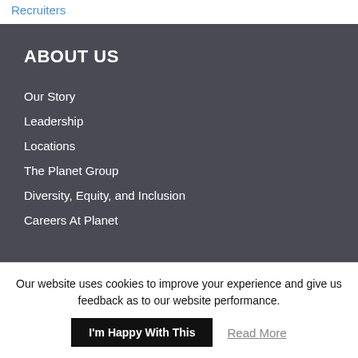Recruiters
ABOUT US
Our Story
Leadership
Locations
The Planet Group
Diversity, Equity, and Inclusion
Careers At Planet
Our website uses cookies to improve your experience and give us feedback as to our website performance.
I'm Happy With This
Read More